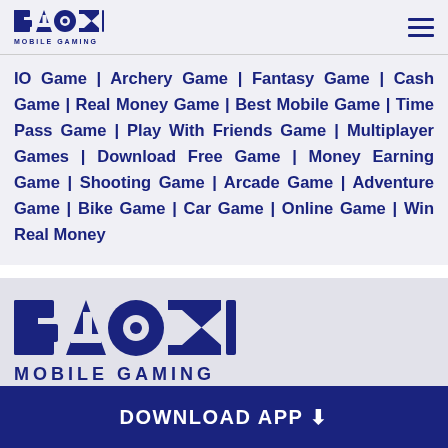BAAZI MOBILE GAMING
IO Game | Archery Game | Fantasy Game | Cash Game | Real Money Game | Best Mobile Game | Time Pass Game | Play With Friends Game | Multiplayer Games | Download Free Game | Money Earning Game | Shooting Game | Arcade Game | Adventure Game | Bike Game | Car Game | Online Game | Win Real Money
[Figure (logo): Baazi Mobile Gaming large logo in footer section]
DOWNLOAD APP